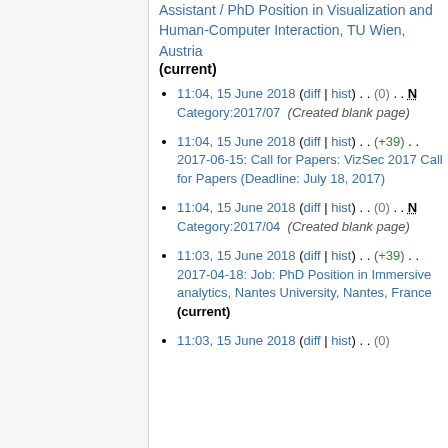Assistant / PhD Position in Visualization and Human-Computer Interaction, TU Wien, Austria (current)
11:04, 15 June 2018 (diff | hist) . . (0) . . N Category:2017/07 (Created blank page)
11:04, 15 June 2018 (diff | hist) . . (+39) . . 2017-06-15: Call for Papers: VizSec 2017 Call for Papers (Deadline: July 18, 2017)
11:04, 15 June 2018 (diff | hist) . . (0) . . N Category:2017/04 (Created blank page)
11:03, 15 June 2018 (diff | hist) . . (+39) . . 2017-04-18: Job: PhD Position in Immersive analytics, Nantes University, Nantes, France (current)
11:03, 15 June 2018 (diff | hist) . . (0)